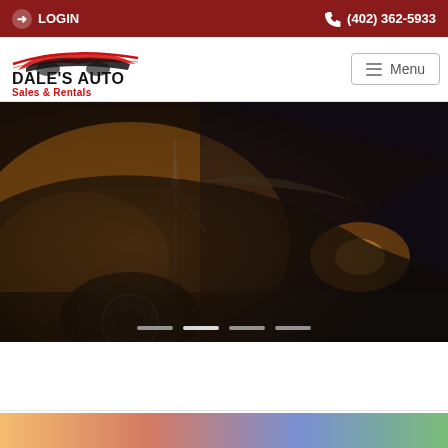LOGIN | (402) 362-5933
[Figure (logo): Dale's Auto Sales & Rentals logo with red car silhouette]
Menu
[Figure (photo): Close-up photo of a dark sports car headlight and front wheel with wind turbine in background, warm golden/orange toned lighting]